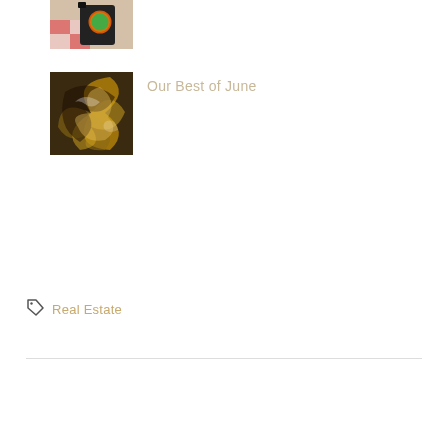[Figure (photo): Partial view of items with red and white checkered fabric and colorful object, cropped at top]
[Figure (photo): Abstract swirling marbled art with brown, gold, black, and white fluid patterns]
Our Best of June
🏷 Real Estate
Real Estate